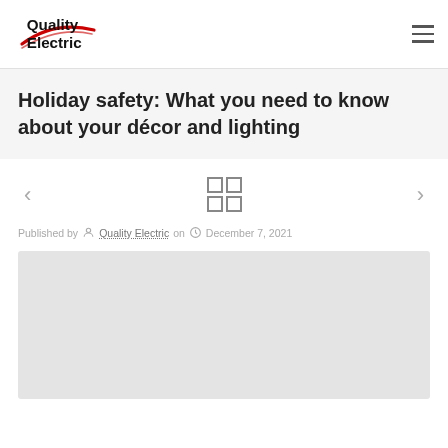Quality Electric
Holiday safety: What you need to know about your décor and lighting
Published by Quality Electric on December 7, 2021
[Figure (photo): Article featured image placeholder (gray rectangle)]